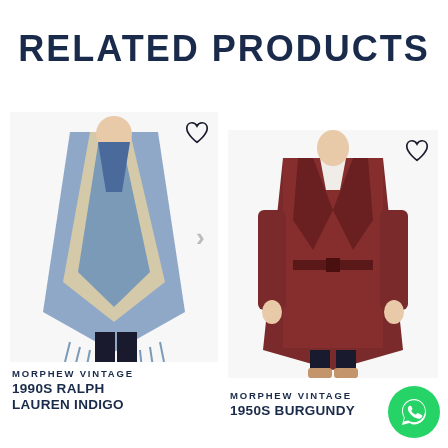RELATED PRODUCTS
[Figure (photo): Woman wearing a blue and cream patterned fringed blanket wrap/poncho over black outfit]
MORPHEW VINTAGE
1990S RALPH LAUREN Indigo
[Figure (photo): Person wearing a burgundy/dark red patterned long belted coat/robe over black pants and tan boots]
MORPHEW VINTAGE
1950S Burgundy